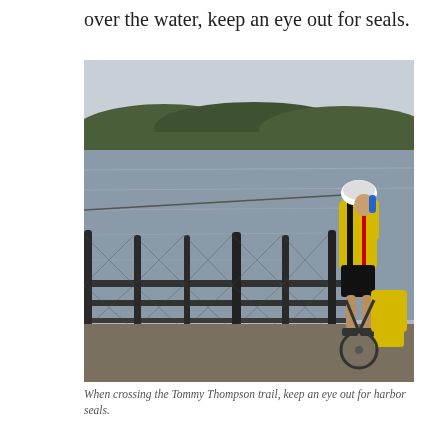over the water, keep an eye out for seals.
[Figure (photo): A cyclist in a yellow and black jersey and white helmet stands next to a bicycle at a chain-link fence railing, looking out over a grey, calm body of water. Forested hills are visible in the background under an overcast sky.]
When crossing the Tommy Thompson trail, keep an eye out for harbor seals.
Orcas Island is stunning. Eastsound is a beautiful spot to stop and eat, with decent restaurants and a great bakery. The hiker/biker sites in Moran State Park are well-regarded locally and by many. The island has